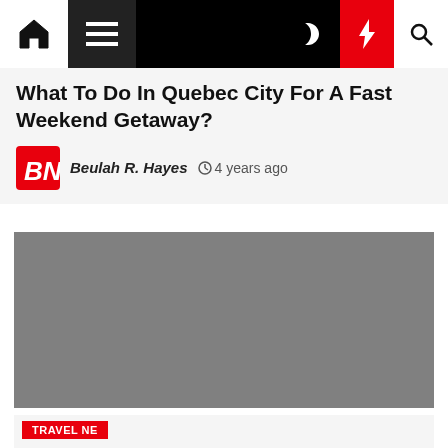Navigation bar with home, menu, moon/dark-mode, lightning/breaking, and search icons
What To Do In Quebec City For A Fast Weekend Getaway?
Beulah R. Hayes  ⊙ 4 years ago
[Figure (photo): Grey placeholder image for article about Quebec City weekend getaway]
Travel Ne...